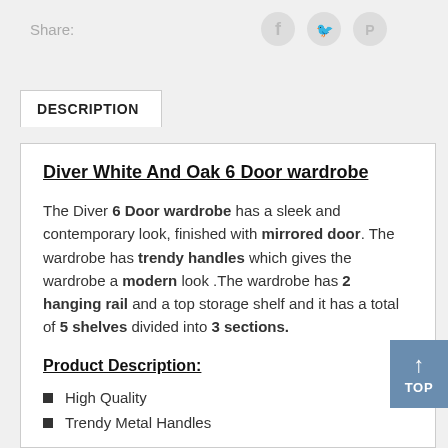Share:
DESCRIPTION
Diver White And Oak 6 Door wardrobe
The Diver 6 Door wardrobe has a sleek and contemporary look, finished with mirrored door. The wardrobe has trendy handles which gives the wardrobe a modern look .The wardrobe has 2 hanging rail and a top storage shelf and it has a total of 5 shelves divided into 3 sections.
Product Description:
High Quality
Trendy Metal Handles